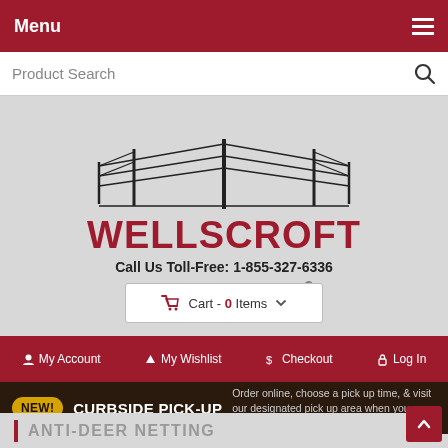Menu
Product Search
[Figure (logo): Wellscroft Fence Systems, LLC logo with fence illustration and tagline: If you farm it, we can fence it.®]
My Account  My Wishlist  Checkout  Log In
Call Us Toll-Free: 1-855-327-6336
Cart - 0 Items
NEW! CURBSIDE PICK-UP Order online, choose a pick up time, & visit our designated pick up area when you arrive!
ANTI-DEER NETTING